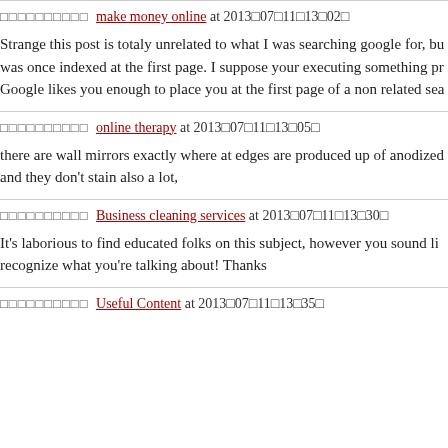□□□□□□□□□□ make money online at 2013□07□11□13□02□
Strange this post is totaly unrelated to what I was searching google for, but it was once indexed at the first page. I suppose your executing something pr… Google likes you enough to place you at the first page of a non related sea…
□□□□□□□□□□ online therapy at 2013□07□11□13□05□
there are wall mirrors exactly where at edges are produced up of anodized… and they don't stain also a lot,
□□□□□□□□□□ Business cleaning services at 2013□07□11□13□30□
It's laborious to find educated folks on this subject, however you sound li… recognize what you're talking about! Thanks
□□□□□□□□□□ Useful Content at 2013□07□11□13□35□